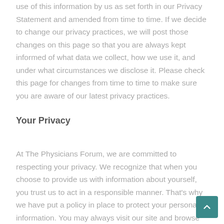use of this information by us as set forth in our Privacy Statement and amended from time to time. If we decide to change our privacy practices, we will post those changes on this page so that you are always kept informed of what data we collect, how we use it, and under what circumstances we disclose it. Please check this page for changes from time to time to make sure you are aware of our latest privacy practices.
Your Privacy
At The Physicians Forum, we are committed to respecting your privacy. We recognize that when you choose to provide us with information about yourself, you trust us to act in a responsible manner. That's why we have put a policy in place to protect your personal information. You may always visit our site and browse without giving us any personal information. Please read